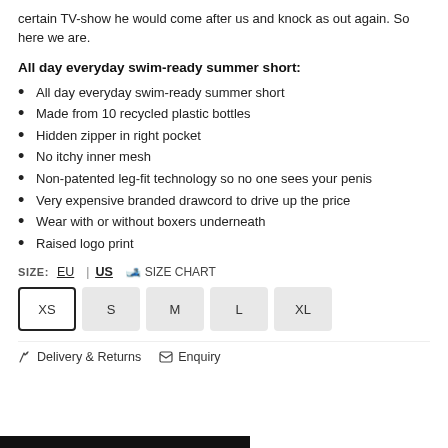certain TV-show he would come after us and knock as out again. So here we are.
All day everyday swim-ready summer short:
All day everyday swim-ready summer short
Made from 10 recycled plastic bottles
Hidden zipper in right pocket
No itchy inner mesh
Non-patented leg-fit technology so no one sees your penis
Very expensive branded drawcord to drive up the price
Wear with or without boxers underneath
Raised logo print
SIZE: EU | US  SIZE CHART
XS  S  M  L  XL
Delivery & Returns  Enquiry